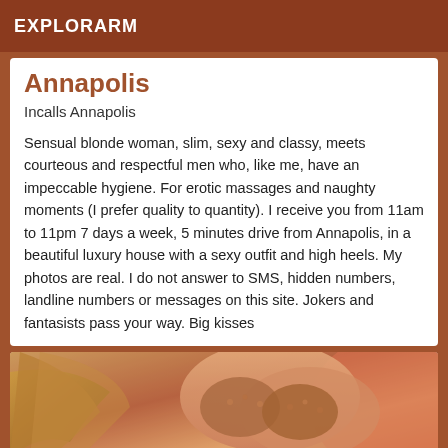EXPLORARM
Annapolis
Incalls Annapolis
Sensual blonde woman, slim, sexy and classy, meets courteous and respectful men who, like me, have an impeccable hygiene. For erotic massages and naughty moments (I prefer quality to quantity). I receive you from 11am to 11pm 7 days a week, 5 minutes drive from Annapolis, in a beautiful luxury house with a sexy outfit and high heels. My photos are real. I do not answer to SMS, hidden numbers, landline numbers or messages on this site. Jokers and fantasists pass your way. Big kisses
[Figure (photo): Close-up photo of a blonde woman in a bikini top with warm orange/brown tones]